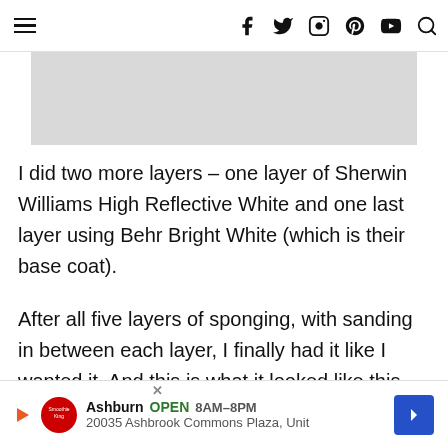≡  f  twitter  instagram  pinterest  youtube  search
[Figure (other): Gray placeholder image/advertisement banner]
I did two more layers – one layer of Sherwin Williams High Reflective White and one last layer using Behr Bright White (which is their base coat).
After all five layers of sponging, with sanding in between each layer, I finally had it like I wanted it. And this is what it looked like this morning in the morning ligh
[Figure (other): Ad banner: Smoothie King – Ashburn OPEN 8AM–8PM, 20035 Ashbrook Commons Plaza, Unit, with navigation arrow]